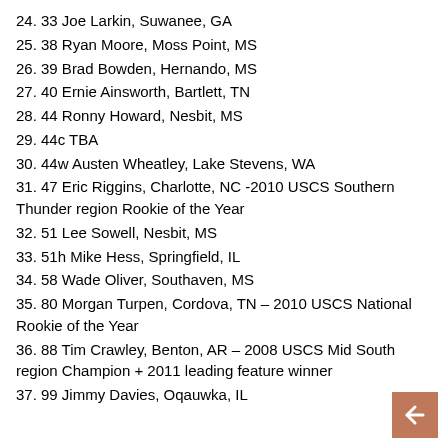24. 33 Joe Larkin, Suwanee, GA
25. 38 Ryan Moore, Moss Point, MS
26. 39 Brad Bowden, Hernando, MS
27. 40 Ernie Ainsworth, Bartlett, TN
28. 44 Ronny Howard, Nesbit, MS
29. 44c TBA
30. 44w Austen Wheatley, Lake Stevens, WA
31. 47 Eric Riggins, Charlotte, NC -2010 USCS Southern Thunder region Rookie of the Year
32. 51 Lee Sowell, Nesbit, MS
33. 51h Mike Hess, Springfield, IL
34. 58 Wade Oliver, Southaven, MS
35. 80 Morgan Turpen, Cordova, TN – 2010 USCS National Rookie of the Year
36. 88 Tim Crawley, Benton, AR – 2008 USCS Mid South region Champion + 2011 leading feature winner
37. 99 Jimmy Davies, Oqauwka, IL